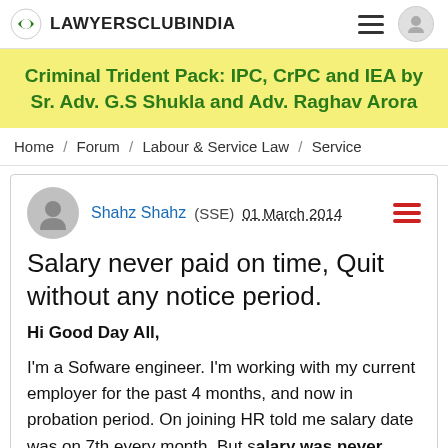LAWYERSCLUBINDIA
[Figure (infographic): Yellow banner advertisement for Criminal Trident Pack: IPC, CrPC and IEA by Sr. Adv. G.S Shukla and Adv. Raghav Arora]
Home / Forum / Labour & Service Law / Service
Shahz Shahz (SSE) 01 March 2014
Salary never paid on time, Quit without any notice period.
Hi Good Day All,
I'm a Sofware engineer. I'm working with my current employer for the past 4 months, and now in probation period. On joining HR told me salary date was on 7th every month. But salary was never paid on time , they paid me on 27th, 15th, 20th and last month not paid at all.